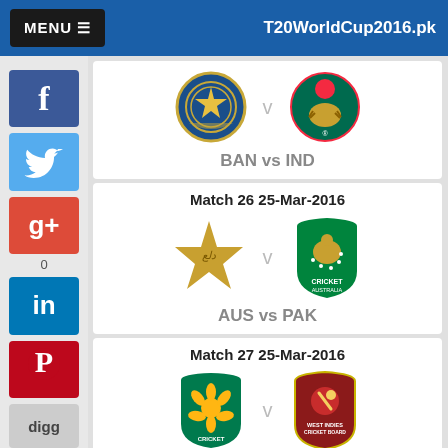MENU ≡   T20WorldCup2016.pk
[Figure (screenshot): BAN vs IND match card with team logos (partial, top of page)]
BAN vs IND
Match 26 25-Mar-2016
[Figure (screenshot): AUS vs PAK match card with Pakistan star logo and Cricket Australia logo]
AUS vs PAK
Match 27 25-Mar-2016
[Figure (screenshot): SA vs West Indies match card with team logos]
[Figure (other): Social media sidebar: Facebook, Twitter, Google+, LinkedIn, Pinterest, Digg buttons]